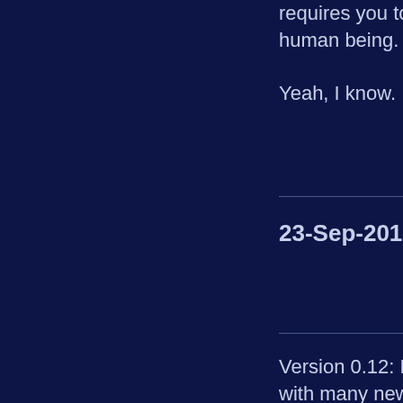requires you to play a ZZT mini-g... human being.
Yeah, I know. I'm prejudiced that...
23-Sep-2015
Version 0.12: Editor and engine a... with many new games supported... Things, Dreams Demo, and Ma... GREEN status. In fact, very few a... status, indicating they are broken...
The crown jewels of ZZT support... including Banana Quest and the... Town.
It may seem a bit late for this, bu... Change Log to chronicle how ZZ... over time. Each new minor revisi...